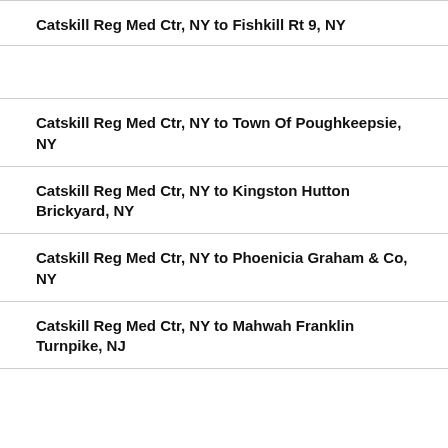Catskill Reg Med Ctr, NY to Fishkill Rt 9, NY
Catskill Reg Med Ctr, NY to Town Of Poughkeepsie, NY
Catskill Reg Med Ctr, NY to Kingston Hutton Brickyard, NY
Catskill Reg Med Ctr, NY to Phoenicia Graham & Co, NY
Catskill Reg Med Ctr, NY to Mahwah Franklin Turnpike, NJ